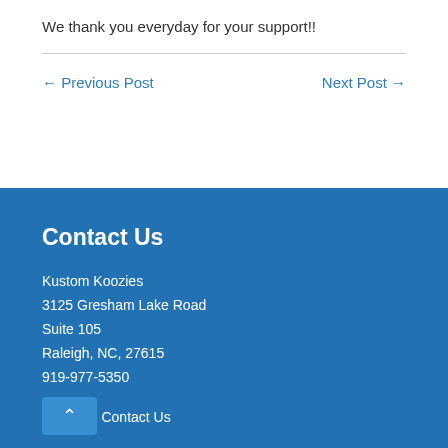We thank you everyday for your support!!
← Previous Post
Next Post →
Contact Us
Kustom Koozies
3125 Gresham Lake Road
Suite 105
Raleigh, NC, 27615
919-977-5350
Contact Us